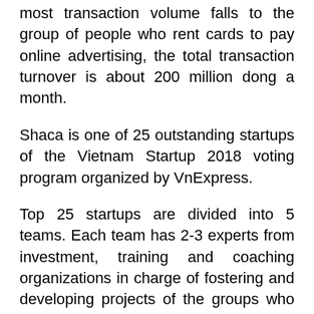most transaction volume falls to the group of people who rent cards to pay online advertising, the total transaction turnover is about 200 million dong a month.
Shaca is one of 25 outstanding startups of the Vietnam Startup 2018 voting program organized by VnExpress.
Top 25 startups are divided into 5 teams. Each team has 2-3 experts from investment, training and coaching organizations in charge of fostering and developing projects of the groups who register for the exam. Expected the training round will take place within a month. The Vietnam Startup 2018 program aims to connect, incubate, and find outstanding startups in many fields in Vietnam; contribute to